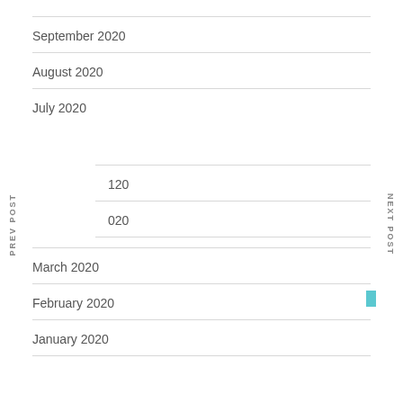September 2020
August 2020
July 2020
120
020
March 2020
February 2020
January 2020